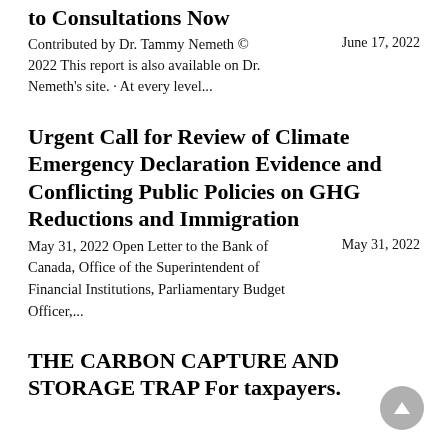to Consultations Now
Contributed by Dr. Tammy Nemeth © 2022 This report is also available on Dr. Nemeth's site. · At every level...
Urgent Call for Review of Climate Emergency Declaration Evidence and Conflicting Public Policies on GHG Reductions and Immigration
May 31, 2022 Open Letter to the Bank of Canada, Office of the Superintendent of Financial Institutions, Parliamentary Budget Officer,...
THE CARBON CAPTURE AND STORAGE TRAP For taxpayers.